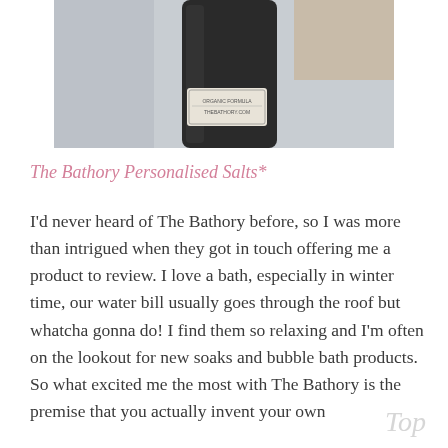[Figure (photo): Close-up photo of a dark bottle with a white label reading THEBATHORY.COM against a light grey background]
The Bathory Personalised Salts*
I'd never heard of The Bathory before, so I was more than intrigued when they got in touch offering me a product to review. I love a bath, especially in winter time, our water bill usually goes through the roof but whatcha gonna do! I find them so relaxing and I'm often on the lookout for new soaks and bubble bath products. So what excited me the most with The Bathory is the premise that you actually invent your own